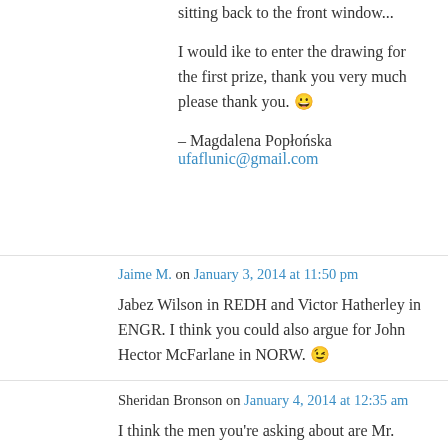sitting back to the front window...
I would ike to enter the drawing for the first prize, thank you very much please thank you. 😀
– Magdalena Popłońska
ufaflunic@gmail.com
Jaime M. on January 3, 2014 at 11:50 pm
Jabez Wilson in REDH and Victor Hatherley in ENGR. I think you could also argue for John Hector McFarlane in NORW. 😉
Sheridan Bronson on January 4, 2014 at 12:35 am
I think the men you're asking about are Mr.